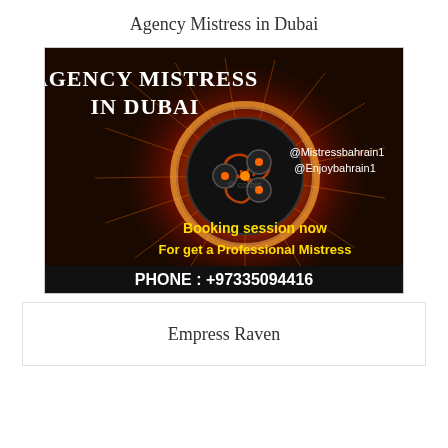Agency Mistress in Dubai
[Figure (illustration): Advertisement image with dark background and orange glowing energy ball with triskelion symbol. Text reads: AGENCY MISTRESS IN DUBAI, @Mistressbahrain1, @Enjoybahrain1, Booking session now, For get a Professional Mistress, PHONE : +97335094416]
Empress Raven